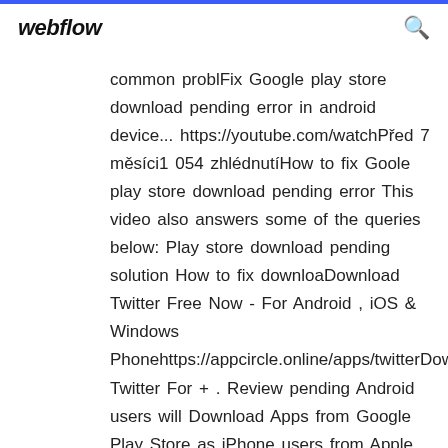webflow
common problFix Google play store download pending error in android device... https://youtube.com/watchPřed 7 měsíci1 054 zhlédnutíHow to fix Goole play store download pending error This video also answers some of the queries below: Play store download pending solution How to fix downloaDownload Twitter Free Now - For Android , iOS & Windows Phonehttps://appcircle.online/apps/twitterDownload Twitter For + . Review pending Android users will Download Apps from Google Play Store as iPhone users from Apple App Store or iTunes and Windows phone users from Windows Store. Pending orders allow you to set the Expiration with